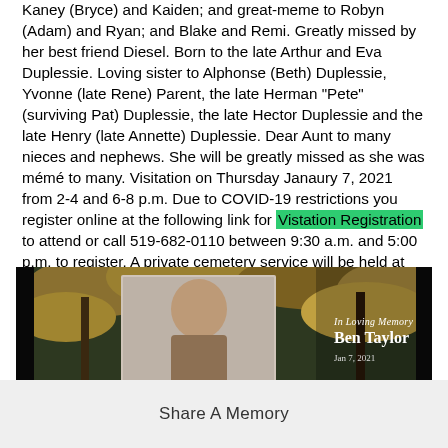Kaney (Bryce) and Kaiden; and great-meme to Robyn (Adam) and Ryan; and Blake and Remi. Greatly missed by her best friend Diesel. Born to the late Arthur and Eva Duplessie. Loving sister to Alphonse (Beth) Duplessie, Yvonne (late Rene) Parent, the late Herman "Pete" (surviving Pat) Duplessie, the late Hector Duplessie and the late Henry (late Annette) Duplessie. Dear Aunt to many nieces and nephews. She will be greatly missed as she was mémé to many. Visitation on Thursday Janaury 7, 2021 from 2-4 and 6-8 p.m. Due to COVID-19 restrictions you register online at the following link for Vistation Registration to attend or call 519-682-0110 between 9:30 a.m. and 5:00 p.m. to register. A private cemetery service will be held at St. Francis Xavier Cemetery on Friday, January 8, 2021. Donations can be made online at the following link "Chatham Kent Hospice". Online condolences may be shared at www.reaumefh.com
[Figure (photo): Memorial photo card showing a person on left side with autumn tree background. Text overlay reads 'In Loving Memory Ben Taylor' with a date partially visible (Jan 7, 2021).]
Share A Memory